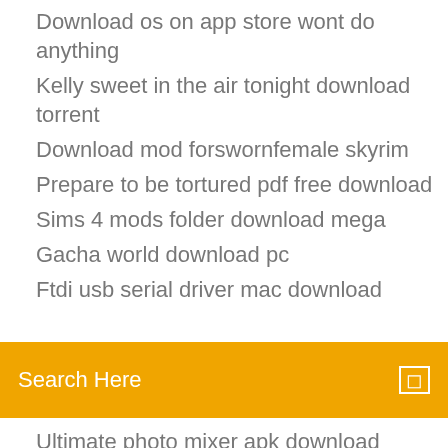Download os on app store wont do anything
Kelly sweet in the air tonight download torrent
Download mod forswornfemale skyrim
Prepare to be tortured pdf free download
Sims 4 mods folder download mega
Gacha world download pc
Ftdi usb serial driver mac download
Search Here
Ultimate photo mixer apk download
Download wicked whims mod
Downloading a pdf brava for free
Firefox android download change of card
Download free background pattern for app
Download itunes file 64bit
How to download all my apps onto icloud
Hello neighbor mod kit downloader
How to download iphone apps on windows
Altitude0 for pc download